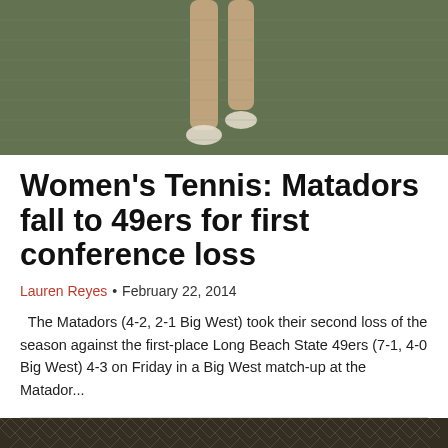[Figure (photo): Top cropped photo of a tennis player on court, showing legs and lower body against a green background]
Women's Tennis: Matadors fall to 49ers for first conference loss
Lauren Reyes • February 22, 2014
The Matadors (4-2, 2-1 Big West) took their second loss of the season against the first-place Long Beach State 49ers (7-1, 4-0 Big West) 4-3 on Friday in a Big West match-up at the Matador...
[Figure (photo): Bottom photo of a female tennis player seen through a chain-link fence, wearing a dark cap and holding a tennis racket]